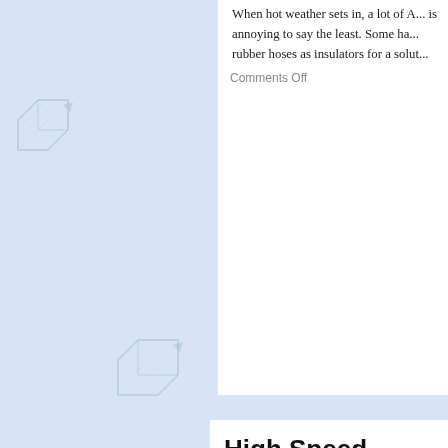[Figure (illustration): Light blue background with repeating gear/box icon watermark pattern]
When hot weather sets in, a lot of A... is annoying to say the least. Some ha... rubber hoses as insulators for a solu...
Comments Off
High Speed Gears
By WPADMIN | JULY 2ND, 2011
You might ask high speed gears or o... your Model A.  Most A drivers are m... less noise for more enjoyable cruisin...
Comments Off